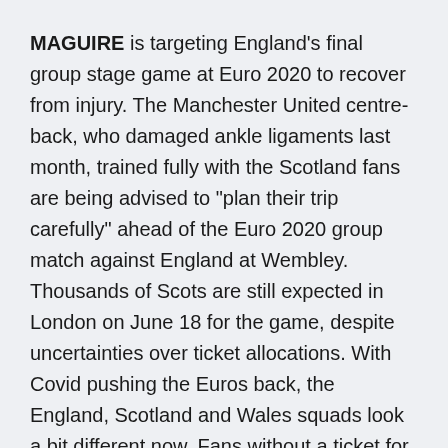MAGUIRE is targeting England's final group stage game at Euro 2020 to recover from injury. The Manchester United centre-back, who damaged ankle ligaments last month, trained fully with the Scotland fans are being advised to “plan their trip carefully” ahead of the Euro 2020 group match against England at Wembley. Thousands of Scots are still expected in London on June 18 for the game, despite uncertainties over ticket allocations. With Covid pushing the Euros back, the England, Scotland and Wales squads look a bit different now. Fans without a ticket for the Euro 2020 match between Scotland and England at Wembley on 18 June have been asked not to travel to London  UEFA Euro 2020: when is Scotland vs England at Euros in 2021, will fans be allowed - and full list of fixtures.